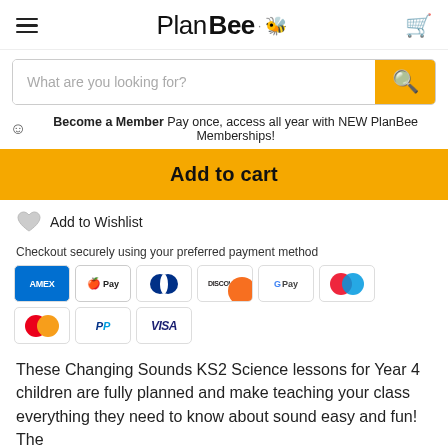PlanBee
What are you looking for?
Become a Member Pay once, access all year with NEW PlanBee Memberships!
Add to cart
Add to Wishlist
Checkout securely using your preferred payment method
[Figure (other): Payment method icons: AMEX, Apple Pay, Diners Club, Discover, Google Pay, two circle overlapping logos, Mastercard, PayPal, VISA]
These Changing Sounds KS2 Science lessons for Year 4 children are fully planned and make teaching your class everything they need to know about sound easy and fun! The